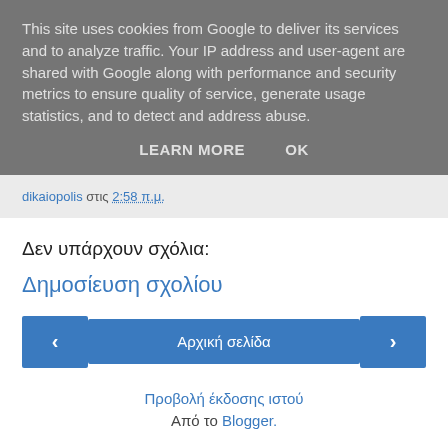This site uses cookies from Google to deliver its services and to analyze traffic. Your IP address and user-agent are shared with Google along with performance and security metrics to ensure quality of service, generate usage statistics, and to detect and address abuse.
LEARN MORE   OK
dikaiopolis στις 2:58 π.μ.
Δεν υπάρχουν σχόλια:
Δημοσίευση σχολίου
‹   Αρχική σελίδα   ›
Προβολή έκδοσης ιστού
Από το Blogger.